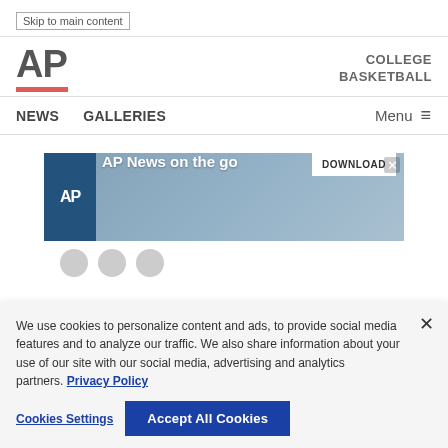Skip to main content
[Figure (logo): AP logo with red underline bar and COLLEGE BASKETBALL text]
NEWS   GALLERIES   Menu
[Figure (screenshot): AP News on the go advertisement banner with DOWNLOAD button]
We use cookies to personalize content and ads, to provide social media features and to analyze our traffic. We also share information about your use of our site with our social media, advertising and analytics partners. Privacy Policy
Cookies Settings   Accept All Cookies